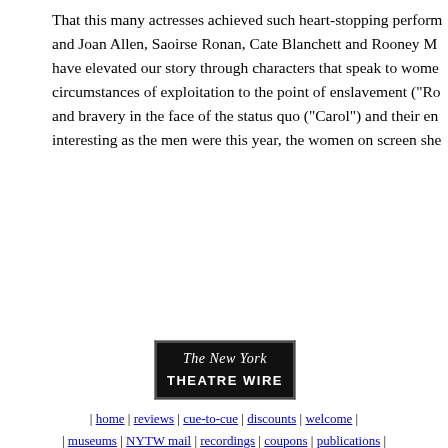That this many actresses achieved such heart-stopping perform... and Joan Allen, Saoirse Ronan, Cate Blanchett and Rooney M... have elevated our story through characters that speak to wome... circumstances of exploitation to the point of enslavement ("Ro... and bravery in the face of the status quo ("Carol") and their en... interesting as the men were this year, the women on screen she...
[Figure (logo): The New York Theatre Wire logo — black background with white italic script 'The New York' and bold caps 'THEATRE WIRE']
| home | reviews | cue-to-cue | discounts | welcome | | museums | NYTW mail | recordings | coupons | publications | classified |